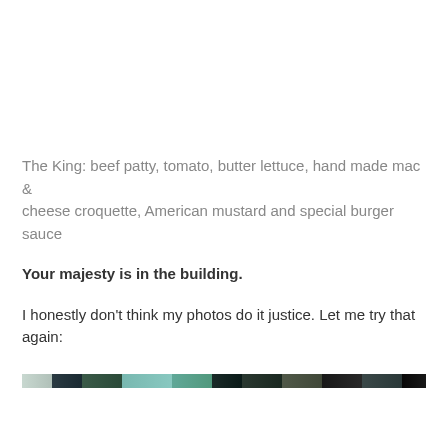The King: beef patty, tomato, butter lettuce, hand made mac & cheese croquette, American mustard and special burger sauce
Your majesty is in the building.
I honestly don't think my photos do it justice. Let me try that again:
[Figure (photo): Partial bottom strip of a food photo, showing a blurred colorful image of a burger]